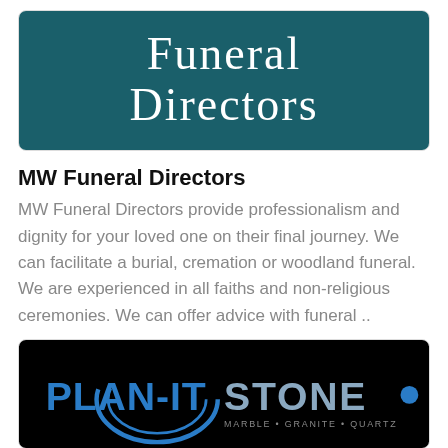[Figure (logo): MW Funeral Directors logo — white serif text reading 'Funeral Directors' on a dark teal/green background]
MW Funeral Directors
MW Funeral Directors provide professionalism and dignity for your loved one on their final journey. We can facilitate a burial, cremation or woodland funeral. We are experienced in all faiths and non-religious ceremonies. We can offer advice with funeral ..
[Figure (logo): Plan-it Stone logo — blue and grey metallic text 'PLAN-IT STONE' with a blue circular arc graphic on a black background, subtitle reads 'MARBLE • GRANITE • QUARTZ']